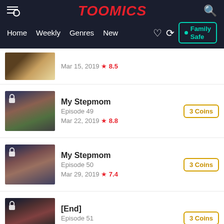TOOMICS
Home  Weekly  Genres  New  Family Safe
My Stepmom - Episode 49, Mar 15, 2019, rating 8.5
My Stepmom - Episode 49, Mar 22, 2019, rating 8.8, 3 Coins
My Stepmom - Episode 50, Mar 29, 2019, rating 7.4, 3 Coins
[End] - Episode 51, Apr 05, 2019, rating 8.7, 3 Coins
🔥 You may also like
[Figure (screenshot): Three manga thumbnails below 'You may also like' section, each with 'End' badge]